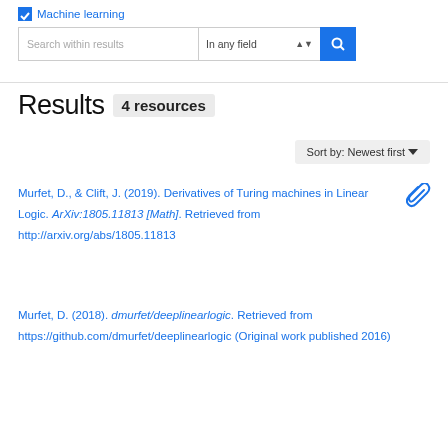Machine learning
Search within results | In any field
Results  4 resources
Sort by: Newest first
Murfet, D., & Clift, J. (2019). Derivatives of Turing machines in Linear Logic. ArXiv:1805.11813 [Math]. Retrieved from http://arxiv.org/abs/1805.11813
Murfet, D. (2018). dmurfet/deeplinearlogic. Retrieved from https://github.com/dmurfet/deeplinearlogic (Original work published 2016)